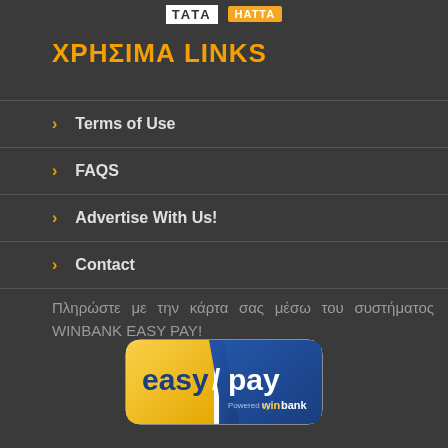[Figure (logo): TATA and HATTA logos at top]
ΧΡΗΣΙΜΑ LINKS
Terms of Use
FAQS
Advertise With Us!
Contact
Πληρώστε με την κάρτα σας μέσω του συστήματος WINBANK EASY PAY!
[Figure (logo): easypay Powered by winbank logo]